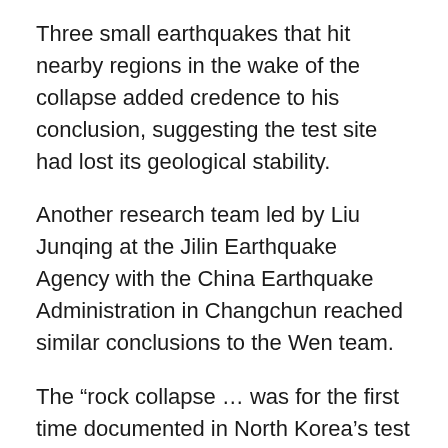Three small earthquakes that hit nearby regions in the wake of the collapse added credence to his conclusion, suggesting the test site had lost its geological stability.
Another research team led by Liu Junqing at the Jilin Earthquake Agency with the China Earthquake Administration in Changchun reached similar conclusions to the Wen team.
The “rock collapse … was for the first time documented in North Korea’s test site,” Liu’s team wrote in a paper published last month in Geophysical Research Letters.
The breakdown not only took off part of the mountain’s summit but also created a “chimney” that could allow fallout to rise from the blast centre into the air, they said.
Zhao Lianfeng, a researcher with the Institute of Earth